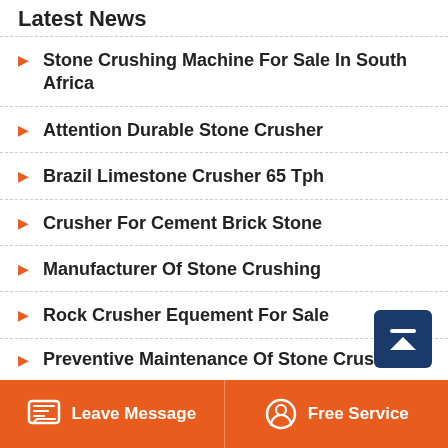Latest News
Stone Crushing Machine For Sale In South Africa
Attention Durable Stone Crusher
Brazil Limestone Crusher 65 Tph
Crusher For Cement Brick Stone
Manufacturer Of Stone Crushing
Rock Crusher Equement For Sale
Preventive Maintenance Of Stone Crusher
Leave Message | Free Service